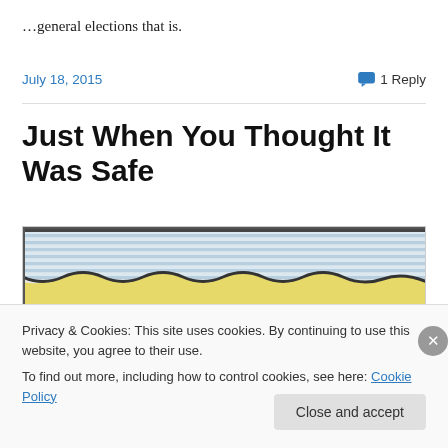…general elections that is.
July 18, 2015    💬 1 Reply
Just When You Thought It Was Safe
[Figure (illustration): Cross-section geological or soil layer illustration showing wavy yellow and blue-grey striped layers]
Privacy & Cookies: This site uses cookies. By continuing to use this website, you agree to their use.
To find out more, including how to control cookies, see here: Cookie Policy
Close and accept